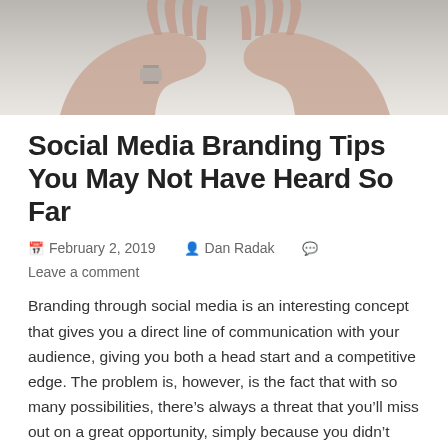[Figure (photo): Hands crossed over a white surface, person wearing a watch visible on wrist]
Social Media Branding Tips You May Not Have Heard So Far
February 2, 2019  Dan Radak  Leave a comment
Branding through social media is an interesting concept that gives you a direct line of communication with your audience, giving you both a head start and a competitive edge. The problem is, however, is the fact that with so many possibilities, there’s always a threat that you'll miss out on a great opportunity, simply because you didn’t know it’s there. There are so many